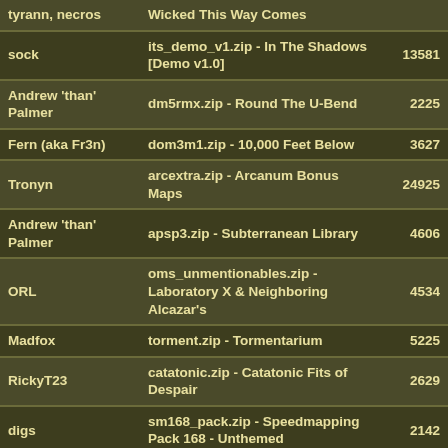| Author | File | Downloads |
| --- | --- | --- |
| tyrann, necros | Wicked This Way Comes |  |
| sock | its_demo_v1.zip - In The Shadows [Demo v1.0] | 13581 |
| Andrew 'than' Palmer | dm5rmx.zip - Round The U-Bend | 2225 |
| Fern (aka Fr3n) | dom3m1.zip - 10,000 Feet Below | 3627 |
| Tronyn | arcextra.zip - Arcanum Bonus Maps | 24925 |
| Andrew 'than' Palmer | apsp3.zip - Subterranean Library | 4606 |
| ORL | oms_unmentionables.zip - Laboratory X & Neighboring Alcazar's | 4534 |
| Madfox | torment.zip - Tormentarium | 5225 |
| RickyT23 | catatonic.zip - Catatonic Fits of Despair | 2629 |
| digs | sm168_pack.zip - Speedmapping Pack 168 - Unthemed | 2142 |
| Kell | e1m5quotha.zip - Gloomier Keep | 1987 |
| Andrew 'than' Palmer | dm7rmx.zip - Geophobia | 1756 |
| Scampie | scampsp1.zip - Dead Memories | 1853 |